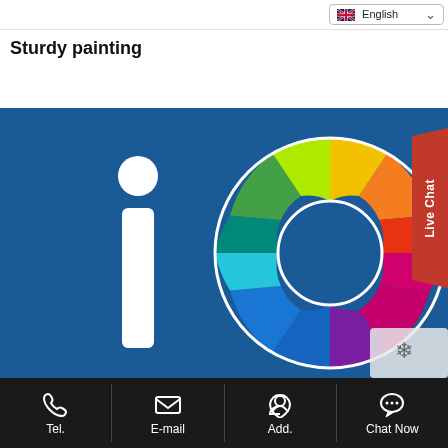English
Sturdy painting
[Figure (logo): Company logo on blue background: white letter 'i' on left and a colorful donut/wheel shape on right with rainbow color segments (yellow-green, green, teal, cyan, light blue, blue, purple, pink/magenta, red, orange-red, orange, yellow-orange), with 'Live Chat' red badge on upper right corner]
Tel. | E-mail | Add. | Chat Now